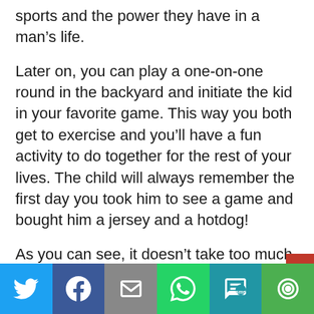sports and the power they have in a man’s life.
Later on, you can play a one-on-one round in the backyard and initiate the kid in your favorite game. This way you both get to exercise and you’ll have a fun activity to do together for the rest of your lives. The child will always remember the first day you took him to see a game and bought him a jersey and a hotdog!
As you can see, it doesn’t take too much to create a connection with your son; you just have to be willing to include him in your
[Figure (infographic): Social sharing bar with icons for Twitter, Facebook, Email, WhatsApp, SMS, and More]